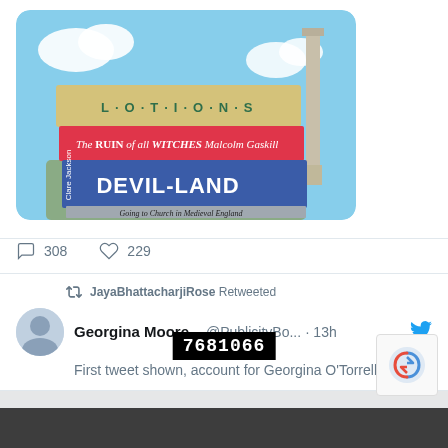[Figure (photo): Photo of stacked books including 'LOTIONS', 'The RUIN of all WITCHES Malcolm Gaskill', 'DEVIL-LAND Clare Jackson', and 'Going to Church in Medieval England', photographed outdoors at what appears to be Trafalgar Square, London.]
308 comments, 229 likes
JayaBhattacharjiRose Retweeted
Georgina Moore... @PublicityBo... · 13h